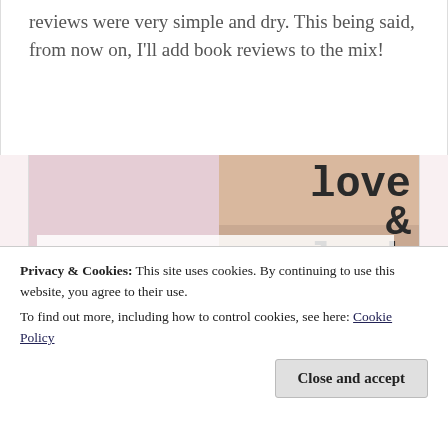reviews were very simple and dry. This being said, from now on, I'll add book reviews to the mix!
[Figure (photo): Blog post thumbnail image for 'love & luck by jenna evans welch | book review (spoiler free)' showing the book 'Love & Luck' surrounded by pink peonies/roses, with an overlay title card in pink text on white background.]
Privacy & Cookies: This site uses cookies. By continuing to use this website, you agree to their use.
To find out more, including how to control cookies, see here: Cookie Policy
Close and accept